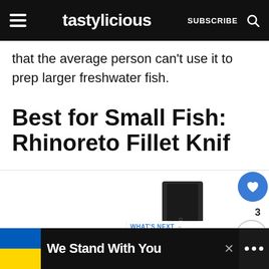tastylicious — SUBSCRIBE
that the average person can't use it to prep larger freshwater fish.
Best for Small Fish: Rhinoreto Fillet Knife
[Figure (photo): Rhinoreto fillet knife product photo showing black packaging box and blue/black handled fillet knife]
WHAT'S NEXT → 7 Substitutes for HelloFre...
We Stand With You